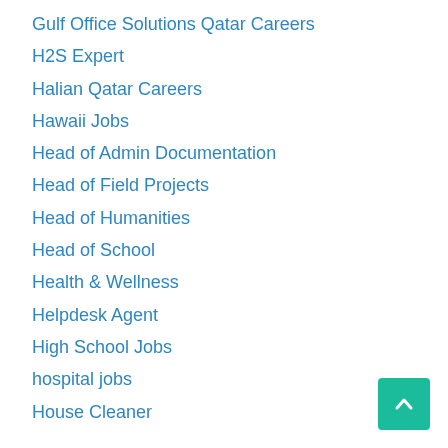Gulf Office Solutions Qatar Careers
H2S Expert
Halian Qatar Careers
Hawaii Jobs
Head of Admin Documentation
Head of Field Projects
Head of Humanities
Head of School
Health & Wellness
Helpdesk Agent
High School Jobs
hospital jobs
House Cleaner